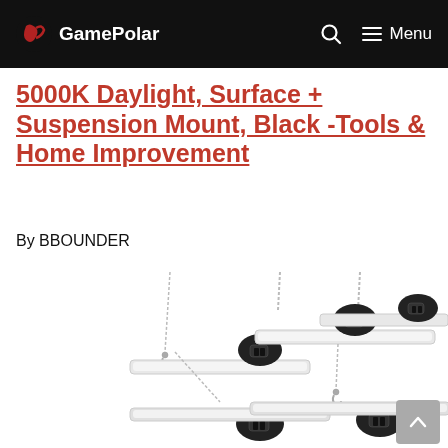GamePolar — Menu
5000K Daylight, Surface + Suspension Mount, Black -Tools & Home Improvement
By BBOUNDER
[Figure (photo): Product photo of multiple black LED shop lights with chains for suspension mounting, shown from an angled perspective against a white background.]